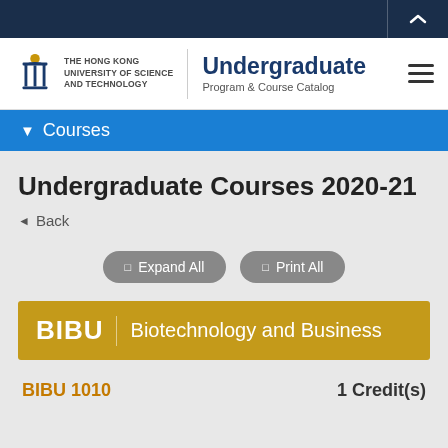THE HONG KONG UNIVERSITY OF SCIENCE AND TECHNOLOGY — Undergraduate Program & Course Catalog
▼ Courses
Undergraduate Courses 2020-21
◄ Back
Expand All   Print All
BIBU | Biotechnology and Business
BIBU 1010   1 Credit(s)